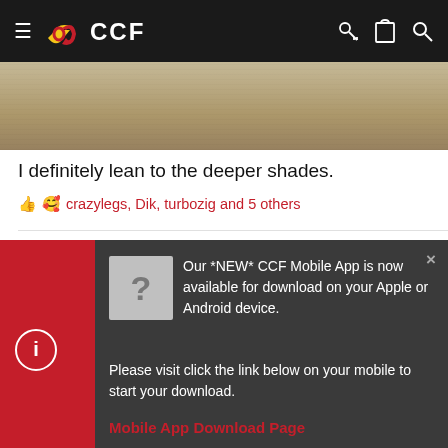CCF navigation bar with hamburger menu, CCF logo, and icons
[Figure (photo): Partial photo showing a textured surface with horizontal lines, likely a close-up of a material or concrete]
I definitely lean to the deeper shades.
crazylegs, Dik, turbozig and 5 others
[Figure (screenshot): Modal popup on dark background with question mark icon and text about CCF Mobile App download]
Our *NEW* CCF Mobile App is now available for download on your Apple or Android device.
Please visit click the link below on your mobile to start your download.
Mobile App Download Page